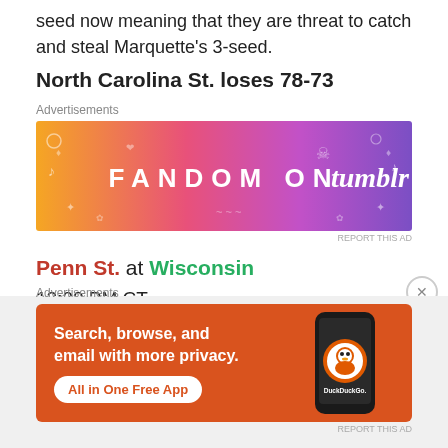seed now meaning that they are threat to catch and steal Marquette's 3-seed.
North Carolina St. loses 78-73
[Figure (screenshot): Fandom on Tumblr advertisement banner with colorful gradient background from orange to purple]
Penn St. at Wisconsin
12:00 PM CT
BTN
Line: WIS -7.5
Why?: This is a tough one. On one hand, Wisconsin is
[Figure (screenshot): DuckDuckGo advertisement: Search, browse, and email with more privacy. All in One Free App. Shows a smartphone with DuckDuckGo logo.]